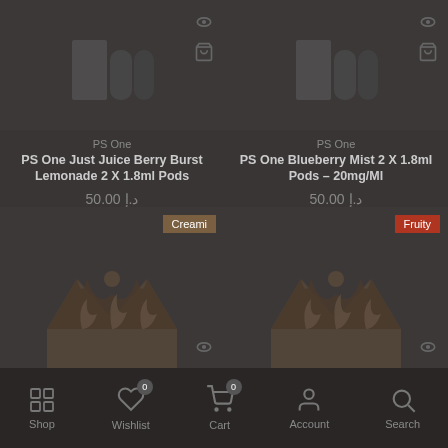[Figure (screenshot): Product image for PS One Just Juice Berry Burst Lemonade 2 X 1.8ml Pods with eye and cart icons]
[Figure (screenshot): Product image for PS One Blueberry Mist 2 X 1.8ml Pods - 20mg/Ml with eye and cart icons]
PS One
PS One Just Juice Berry Burst Lemonade 2 X 1.8ml Pods
50.00 د.إ
PS One
PS One Blueberry Mist 2 X 1.8ml Pods - 20mg/Ml
50.00 د.إ
[Figure (screenshot): Bottom left product card with Creami badge and crown logo icon, eye and cart icons]
[Figure (screenshot): Bottom right product card with Fruity badge and crown logo icon, scroll-to-top button]
Shop  Wishlist 0  Cart 0  Account  Search